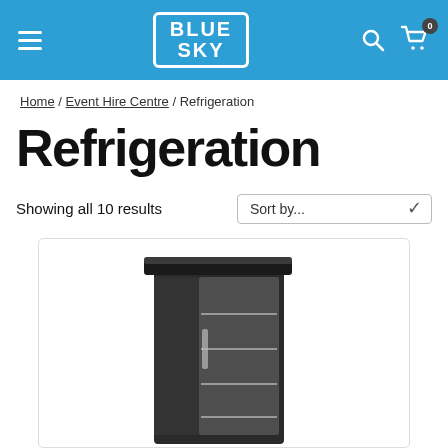Blue Sky — navigation header with hamburger menu, logo, search icon, and cart (0 items)
Home / Event Hire Centre / Refrigeration
Refrigeration
Showing all 10 results
Sort by...
[Figure (photo): Black commercial refrigerator / drinks chiller with glass door shown partially open, displayed on a white background inside a product card.]